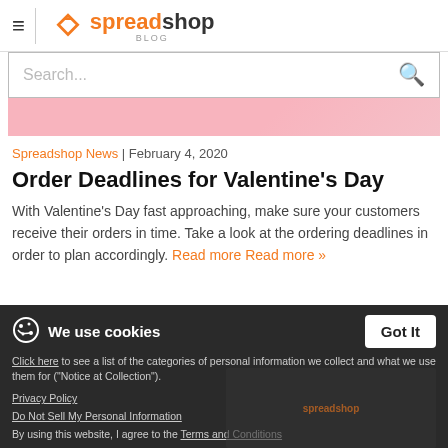spreadshop BLOG
Search...
[Figure (photo): Pink background decorative image strip]
Spreadshop News | February 4, 2020
Order Deadlines for Valentine's Day
With Valentine's Day fast approaching, make sure your customers receive their orders in time. Take a look at the ordering deadlines in order to plan accordingly. Read more Read more »
We use cookies - Click here to see a list of the categories of personal information we collect and what we use them for ("Notice at Collection"). Privacy Policy Do Not Sell My Personal Information By using this website, I agree to the Terms and Conditions